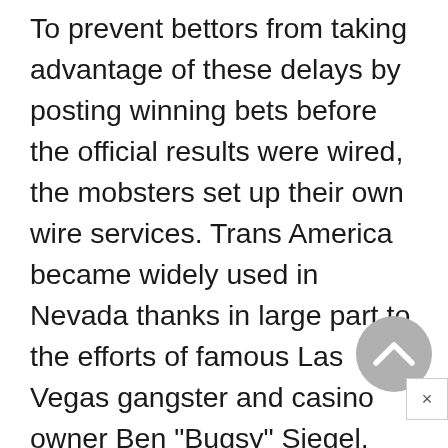To prevent bettors from taking advantage of these delays by posting winning bets before the official results were wired, the mobsters set up their own wire services. Trans America became widely used in Nevada thanks in large part to the efforts of famous Las Vegas gangster and casino owner Ben "Bugsy" Siegel.
During the 1950s the federal government cracked down on organized crime and eventually drove